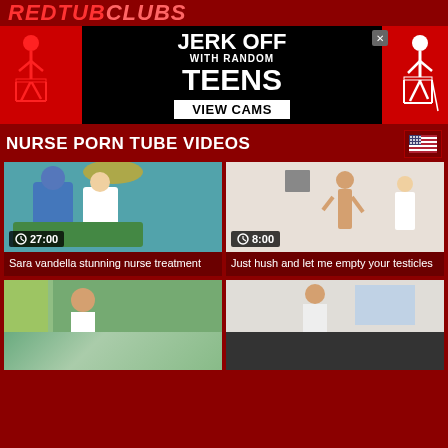REDTUBESLUD
[Figure (illustration): Advertisement banner: JERK OFF WITH RANDOM TEENS - VIEW CAMS, black background with red and white stick figures]
NURSE PORN TUBE VIDEOS
[Figure (photo): Video thumbnail: surgical scene with doctor in blue scrubs and nurse in white uniform. Duration: 27:00]
Sara vandella stunning nurse treatment
[Figure (photo): Video thumbnail: nude male with nurse in white uniform in clinical setting. Duration: 8:00]
Just hush and let me empty your testicles
[Figure (photo): Video thumbnail: woman with glasses in clinical/curtained setting]
[Figure (photo): Video thumbnail: male in white coat with glasses in clinical setting]